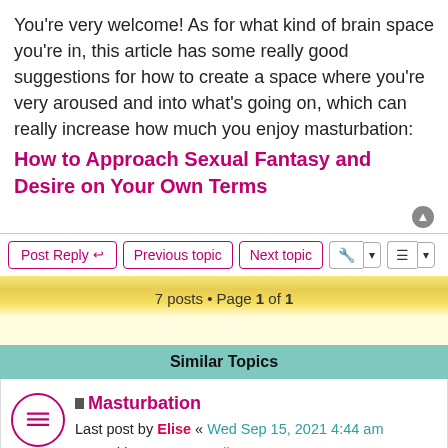You're very welcome! As for what kind of brain space you're in, this article has some really good suggestions for how to create a space where you're very aroused and into what's going on, which can really increase how much you enjoy masturbation:
How to Approach Sexual Fantasy and Desire on Your Own Terms
7 posts • Page 1 of 1
Similar Topics
Masturbation
Last post by Elise « Wed Sep 15, 2021 4:44 am
Posted in Sex & Sexuality
Replies: 3
masturbation
Last post by Sam W « Mon Apr 04, 2022 12:06 pm
Posted in Bodies
Replies: 1